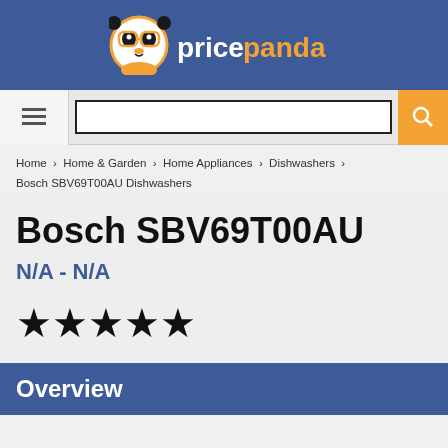[Figure (logo): PricePanda logo with panda icon and orange/white text on blue header bar]
[Figure (screenshot): Search bar with hamburger menu icon and orange search button]
Home › Home & Garden › Home Appliances › Dishwashers › Bosch SBV69T00AU Dishwashers
Bosch SBV69T00AU
N/A - N/A
[Figure (other): 5 black stars rating]
Overview